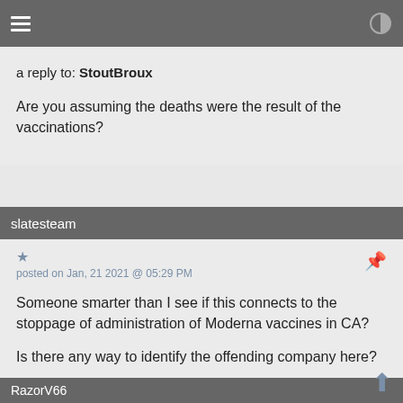a reply to: StoutBroux
Are you assuming the deaths were the result of the vaccinations?
slatesteam
posted on Jan, 21 2021 @ 05:29 PM
Someone smarter than I see if this connects to the stoppage of administration of Moderna vaccines in CA?
Is there any way to identify the offending company here?
RazorV66